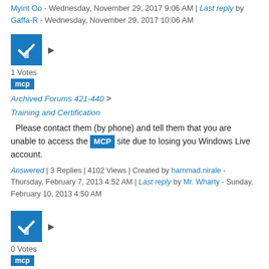Myint Oo - Wednesday, November 29, 2017 9:06 AM | Last reply by Gaffa-R - Wednesday, November 29, 2017 10:06 AM
[Figure (other): Blue checkbox with lock icon indicating answered/locked thread]
1 Votes
mcp
Archived Forums 421-440 > Training and Certification
Please contact them (by phone) and tell them that you are unable to access the MCP site due to losing you Windows Live account.
Answered | 3 Replies | 4102 Views | Created by hammad.nirale - Thursday, February 7, 2013 4:52 AM | Last reply by Mr. Wharty - Sunday, February 10, 2013 4:50 AM
[Figure (other): Blue checkbox with lock icon indicating answered/locked thread]
0 Votes
mcp
Archived Forums 421-440 > Training and Certification
Tim MCSA, MCTS, MCITP, MCDST, MCP, A+, Network